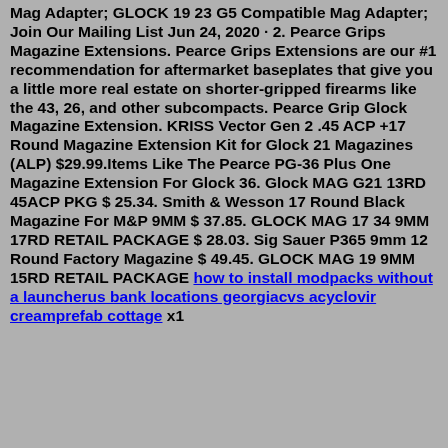Mag Adapter; GLOCK 19 23 G5 Compatible Mag Adapter; Join Our Mailing List Jun 24, 2020 · 2. Pearce Grips Magazine Extensions. Pearce Grips Extensions are our #1 recommendation for aftermarket baseplates that give you a little more real estate on shorter-gripped firearms like the 43, 26, and other subcompacts. Pearce Grip Glock Magazine Extension. KRISS Vector Gen 2 .45 ACP +17 Round Magazine Extension Kit for Glock 21 Magazines (ALP) $29.99.Items Like The Pearce PG-36 Plus One Magazine Extension For Glock 36. Glock MAG G21 13RD 45ACP PKG $ 25.34. Smith & Wesson 17 Round Black Magazine For M&P 9MM $ 37.85. GLOCK MAG 17 34 9MM 17RD RETAIL PACKAGE $ 28.03. Sig Sauer P365 9mm 12 Round Factory Magazine $ 49.45. GLOCK MAG 19 9MM 15RD RETAIL PACKAGE how to install modpacks without a launcherus bank locations georgiacvs acyclovir creamprefab cottage x1